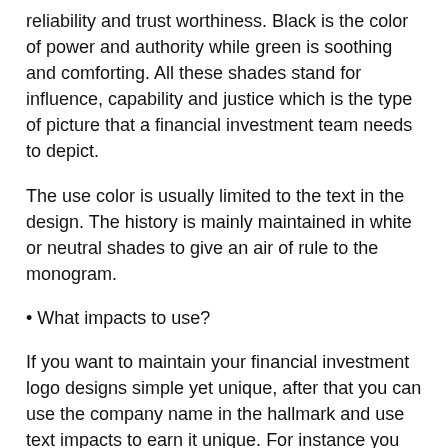reliability and trust worthiness. Black is the color of power and authority while green is soothing and comforting. All these shades stand for influence, capability and justice which is the type of picture that a financial investment team needs to depict.
The use color is usually limited to the text in the design. The history is mainly maintained in white or neutral shades to give an air of rule to the monogram.
• What impacts to use?
If you want to maintain your financial investment logo designs simple yet unique, after that you can use the company name in the hallmark and use text impacts to earn it unique. For instance you can use the 3 dimensional or the gradient effect for the text in